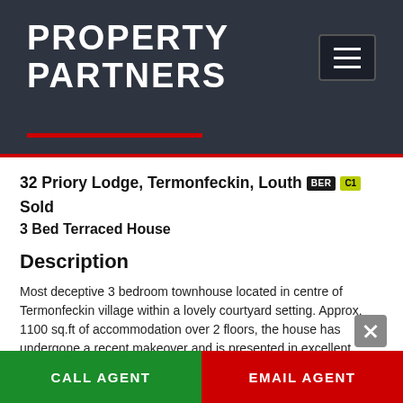PROPERTY PARTNERS
32 Priory Lodge, Termonfeckin, Louth BER C1 Sold
3 Bed Terraced House
Description
Most deceptive 3 bedroom townhouse located in centre of Termonfeckin village within a lovely courtyard setting. Approx. 1100 sq.ft of accommodation over 2 floors, the house has undergone a recent makeover and is presented in excellent condition throughout. There is also a spacious west facing garden to rear which is not overlooked. Priory Lodge comprises of just 53 homes and is only a short walk
CALL AGENT    EMAIL AGENT